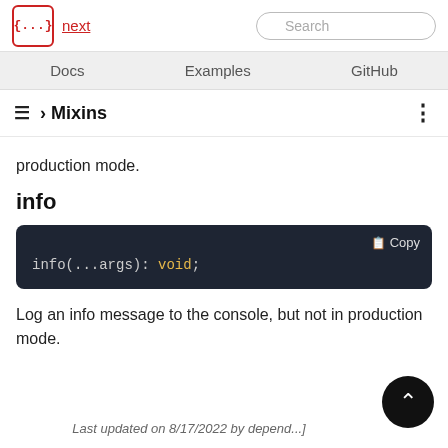next | Docs | Examples | GitHub | Search
› Mixins
production mode.
info
[Figure (screenshot): Code block showing: info(...args): void;]
Log an info message to the console, but not in production mode.
Last updated on 8/17/2022 by depend...]